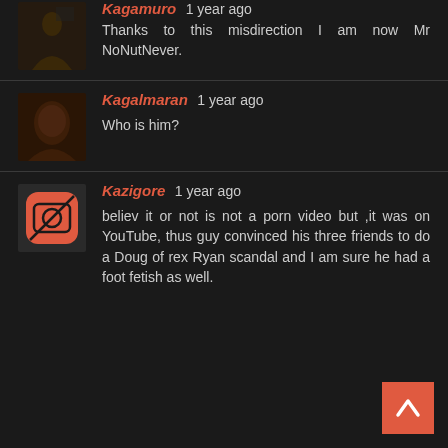Kagamuro 1 year ago
Thanks to this misdirection I am now Mr NoNutNever.
Kagalmaran 1 year ago
Who is him?
Kazigore 1 year ago
believ it or not is not a porn video but ,it was on YouTube, thus guy convinced his three friends to do a Doug of rex Ryan scandal and I am sure he had a foot fetish as well.